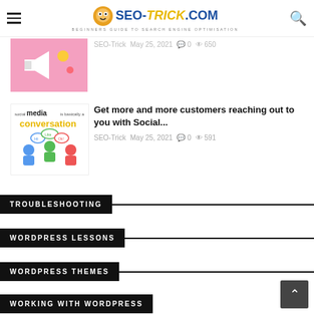SEO-TRICK.COM — Beginners Guide to Search Engine Optimisation
[Figure (screenshot): Partial article thumbnail image (pink background with megaphone/speaker icon)]
SEO-Trick  May 25, 2021  0  650
[Figure (illustration): Social media conversation illustration with people and speech bubbles]
Get more and more customers reaching out to you with Social...
SEO-Trick  May 25, 2021  0  591
TROUBLESHOOTING
WORDPRESS LESSONS
WORDPRESS THEMES
WORKING WITH WORDPRESS